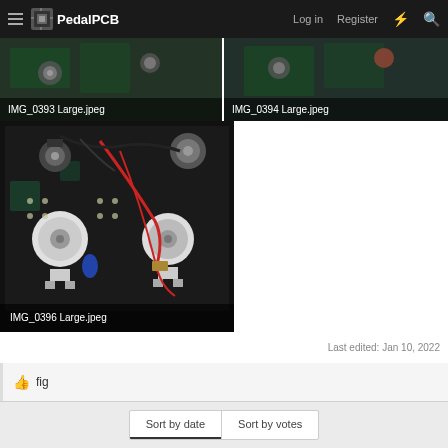PedalPCB — Log in   Register
[Figure (photo): Thumbnail of circuit board photo labeled IMG_0393 Large.jpeg]
[Figure (photo): Thumbnail of circuit board photo labeled IMG_0394 Large.jpeg]
[Figure (photo): Close-up photo of PCB with potentiometers and wiring labeled IMG_0396 Large.jpeg]
Last edited: Jan 10, 2022
👍 fig
Sort by date   Sort by votes